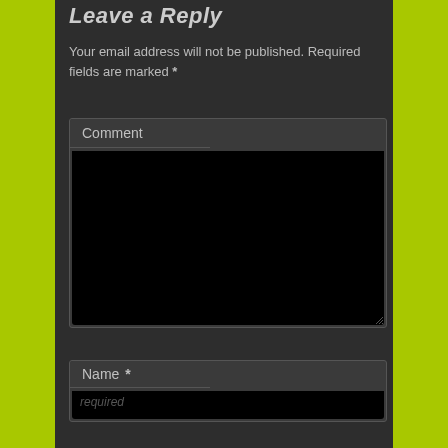Leave a Reply
Your email address will not be published. Required fields are marked *
[Figure (screenshot): Comment text area form field with dark background and 'Comment' label tab at top-left]
[Figure (screenshot): Name input field with 'Name' label tab and blue asterisk required marker]